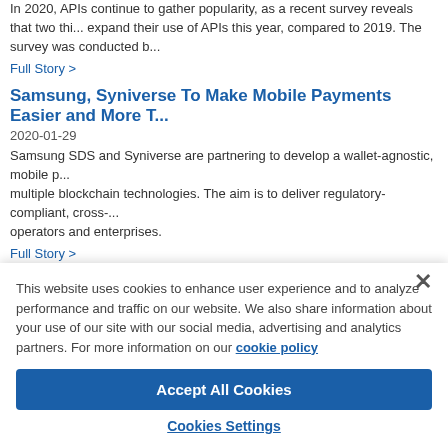In 2020, APIs continue to gather popularity, as a recent survey reveals that two thirds expand their use of APIs this year, compared to 2019. The survey was conducted b...
Full Story >
Samsung, Syniverse To Make Mobile Payments Easier and More T...
2020-01-29
Samsung SDS and Syniverse are partnering to develop a wallet-agnostic, mobile p... multiple blockchain technologies. The aim is to deliver regulatory-compliant, cross-... operators and enterprises.
Full Story >
Denodo Brings Data Virtualization to Google Cloud Platform To Sp...
2020-01-28
As enterprises move data and processing to the cloud or multiple clouds, they are b...
This website uses cookies to enhance user experience and to analyze performance and traffic on our website. We also share information about your use of our site with our social media, advertising and analytics partners. For more information on our cookie policy
Accept All Cookies
Cookies Settings